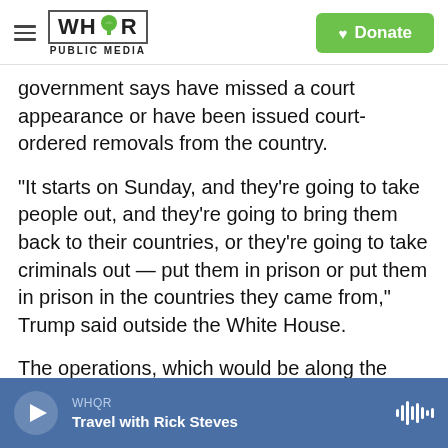WHQR PUBLIC MEDIA | Donate
government says have missed a court appearance or have been issued court-ordered removals from the country.
"It starts on Sunday, and they're going to take people out, and they're going to bring them back to their countries, or they're going to take criminals out — put them in prison or put them in prison in the countries they came from," Trump said outside the White House.
The operations, which would be along the same lines as the one canceled last month, are expected to take place in at least 10 cities across the U.S.
WHQR | Travel with Rick Steves